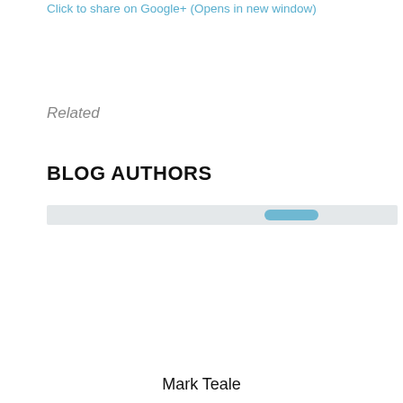Click to share on Google+ (Opens in new window)
Related
BLOG AUTHORS
[Figure (other): A horizontal progress bar / loading bar element with a light gray background and a teal/blue filled pill shape on the right portion]
Mark Teale